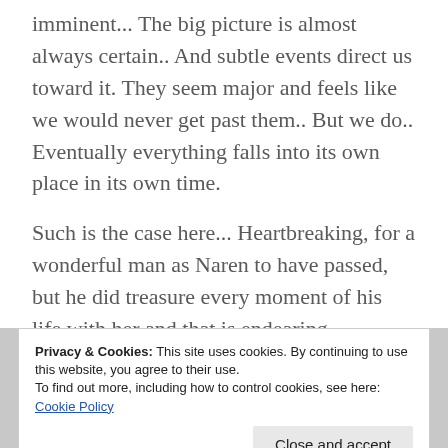imminent... The big picture is almost always certain.. And subtle events direct us toward it. They seem major and feels like we would never get past them.. But we do.. Eventually everything falls into its own place in its own time.

Such is the case here... Heartbreaking, for a wonderful man as Naren to have passed, but he did treasure every moment of his life with her and that is endearing.
Privacy & Cookies: This site uses cookies. By continuing to use this website, you agree to their use.
To find out more, including how to control cookies, see here: Cookie Policy